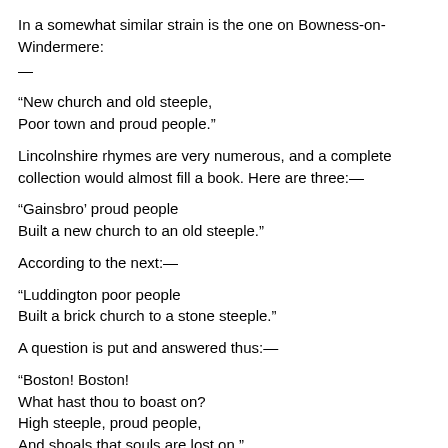In a somewhat similar strain is the one on Bowness-on-Windermere:
—
“New church and old steeple,
Poor town and proud people.”
Lincolnshire rhymes are very numerous, and a complete collection would almost fill a book. Here are three:—
“Gainsbro’ proud people
Built a new church to an old steeple.”
According to the next:—
“Luddington poor people
Built a brick church to a stone steeple.”
A question is put and answered thus:—
“Boston! Boston!
What hast thou to boast on?
High steeple, proud people,
And shoals that souls are lost on.”
The village of Ugley, Essex, supplies a satirical couplet:—